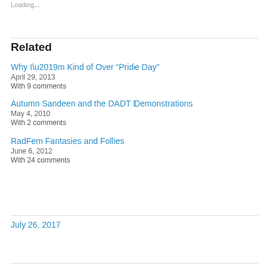Loading...
Related
Why I’m Kind of Over “Pride Day”
April 29, 2013
With 9 comments
Autumn Sandeen and the DADT Demonstrations
May 4, 2010
With 2 comments
RadFem Fantasies and Follies
June 6, 2012
With 24 comments
July 26, 2017